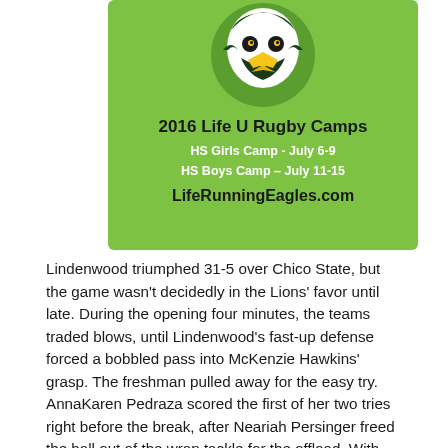[Figure (illustration): Green square advertisement for 2016 Life U Rugby Camps featuring an eagle mascot logo. Text reads: '2016 Life U Rugby Camps', 'HS Girls Camp - July 6-9', 'HS Boys Camp – July 11-15', 'LifeRunningEagles.com']
Lindenwood triumphed 31-5 over Chico State, but the game wasn't decidedly in the Lions' favor until late. During the opening four minutes, the teams traded blows, until Lindenwood's fast-up defense forced a bobbled pass into McKenzie Hawkins' grasp. The freshman pulled away for the easy try. AnnaKaren Pedraza scored the first of her two tries right before the break, after Neariah Persinger freed the ball out of the wrap tackle for the offload. With two Hawkins conversions, Lindenwood led 14-0 into the break.